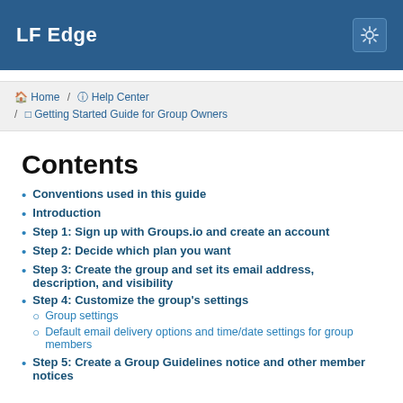LF Edge
Home / Help Center / Getting Started Guide for Group Owners
Contents
Conventions used in this guide
Introduction
Step 1: Sign up with Groups.io and create an account
Step 2: Decide which plan you want
Step 3: Create the group and set its email address, description, and visibility
Step 4: Customize the group's settings
Group settings
Default email delivery options and time/date settings for group members
Step 5: Create a Group Guidelines notice and other member notices